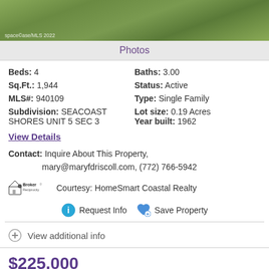[Figure (photo): Aerial or ground-level photo of green grass/lawn, watermark text 'space©ase/MLS 2022' in bottom left]
Photos
Beds: 4   Baths: 3.00
Sq.Ft.: 1,944   Status: Active
MLS#: 940109   Type: Single Family
Subdivision: SEACOAST SHORES UNIT 5 SEC 3   Lot size: 0.19 Acres
Year built: 1962
View Details
Contact: Inquire About This Property, mary@maryfdriscoll.com, (772) 766-5942
[Figure (logo): Broker Reciprocity logo with house icon]
Courtesy: HomeSmart Coastal Realty
Request Info   Save Property
View additional info
$225,000
145 E Colonial Court #D Indian Harbour